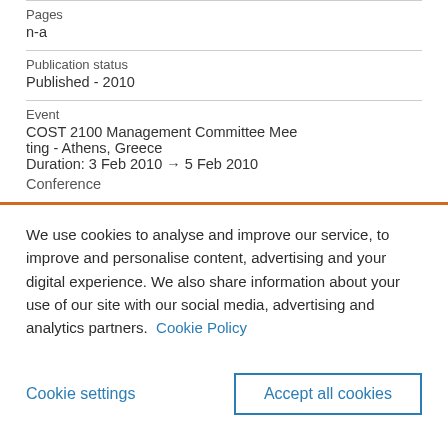Pages
n-a
Publication status
Published - 2010
Event
COST 2100 Management Committee Meeting - Athens, Greece
Duration: 3 Feb 2010 → 5 Feb 2010
Conference
We use cookies to analyse and improve our service, to improve and personalise content, advertising and your digital experience. We also share information about your use of our site with our social media, advertising and analytics partners.  Cookie Policy
Cookie settings
Accept all cookies